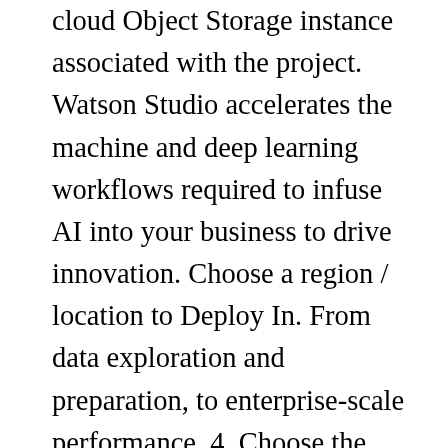cloud Object Storage instance associated with the project. Watson Studio accelerates the machine and deep learning workflows required to infuse AI into your business to drive innovation. Choose a region / location to Deploy In. From data exploration and preparation, to enterprise-scale performance. 4. Choose the runtime environments that best suit your needs or create customized environments. On the assets tab, you'll see the assets included in this sample project. Learn how to add data to a project, refine data, and use IBM® SPSS® Modeler flows with our Watson Studio Desktop product documentation. You can create a project from